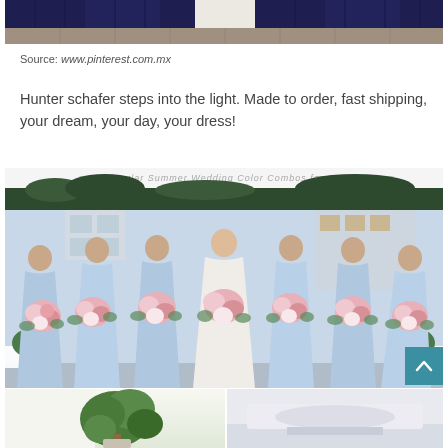[Figure (photo): Bottom of a group photo showing navy blue bridesmaid dresses and a white wedding dress, with a tiled floor visible]
Source: www.pinterest.com.mx
Hunter schafer steps into the light. Made to order, fast shipping, your dream, your day, your dress!
[Figure (photo): Wedding party photo: bride in white dress surrounded by six bridesmaids in light blue dresses, all holding large floral bouquets with pink and white flowers. Text overlay at top reads '9 Popular Summer Wedding Color Combos for 2020']
[Figure (photo): Two partial photos at the bottom: left shows a white room with green plants, right shows a lighter colored scene]